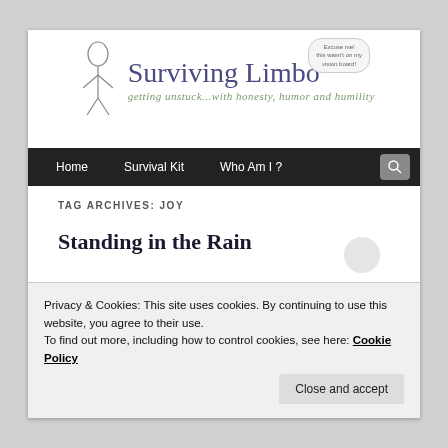[Figure (illustration): Surviving Limbo blog header with illustrated figure, speech bubble saying 'Excuse me! This wasn't on my vision board!', site title 'Surviving Limbo' and tagline 'getting unstuck...with honesty, humor and humility']
Home | Survival Kit | Who Am I?
TAG ARCHIVES: JOY
Standing in the Rain
Privacy & Cookies: This site uses cookies. By continuing to use this website, you agree to their use.
To find out more, including how to control cookies, see here: Cookie Policy
Close and accept